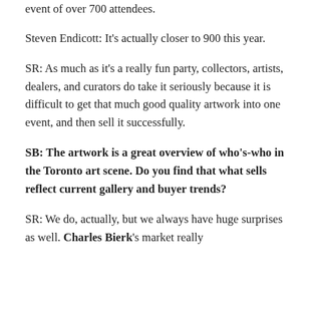event of over 700 attendees.
Steven Endicott: It's actually closer to 900 this year.
SR: As much as it's a really fun party, collectors, artists, dealers, and curators do take it seriously because it is difficult to get that much good quality artwork into one event, and then sell it successfully.
SB: The artwork is a great overview of who's-who in the Toronto art scene. Do you find that what sells reflect current gallery and buyer trends?
SR: We do, actually, but we always have huge surprises as well. Charles Bierk's market really